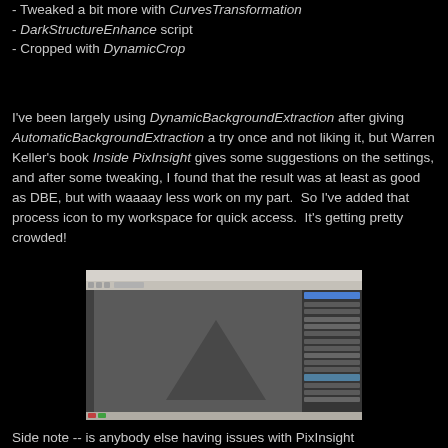- Tweaked a bit more with CurvesTransformation
- DarkStructureEnhance script
- Cropped with DynamicCrop
I've been largely using DynamicBackgroundExtraction after giving AutomaticBackgroundExtraction a try once and not liking it, but Warren Keller's book Inside PixInsight gives some suggestions on the settings, and after some tweaking, I found that the result was at least as good as DBE, but with waaaay less work on my part.  So I've added that process icon to my workspace for quick access.  It's getting pretty crowded!
[Figure (screenshot): Screenshot of PixInsight workspace showing a dark image with a geometric shape and a panel of process icons on the right side.]
Side note -- is anybody else having issues with PixInsight